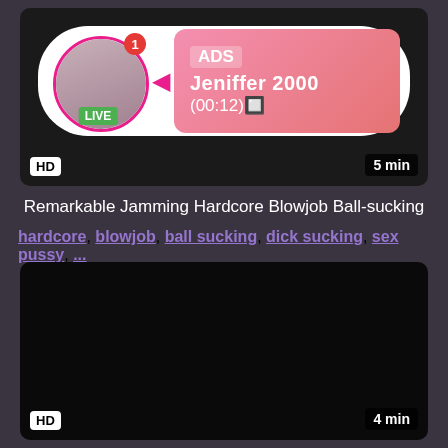[Figure (screenshot): Video thumbnail with ad overlay showing a profile picture with LIVE badge, notification badge, and a pink gradient info box with 'ADS Jeniffer 2000 (00:12)' text. HD badge and 5 min duration shown.]
Remarkable Jamming Hardcore Blowjob Ball-sucking
hardcore, blowjob, ball sucking, dick sucking, sex pussy, ...
[Figure (screenshot): Dark/black video thumbnail with HD badge and 4 min duration label.]